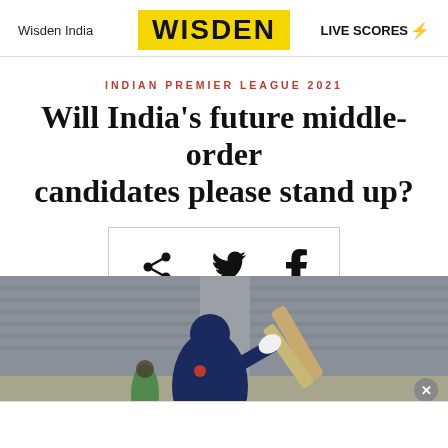Wisden India | WISDEN | LIVE SCORES
INDIAN PREMIER LEAGUE 2021
Will India's future middle-order candidates please stand up?
[Figure (other): Social share icons: share, Twitter, Facebook]
[Figure (photo): Cricket player in dark blue India jersey batting, stadium seats visible in background]